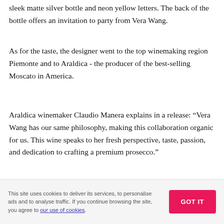sleek matte silver bottle and neon yellow letters. The back of the bottle offers an invitation to party from Vera Wang.
As for the taste, the designer went to the top winemaking region Piemonte and to Araldica - the producer of the best-selling Moscato in America.
Araldica winemaker Claudio Manera explains in a release: “Vera Wang has our same philosophy, making this collaboration organic for us. This wine speaks to her fresh perspective, taste, passion, and dedication to crafting a premium prosecco.”
This site uses cookies to deliver its services, to personalise ads and to analyse traffic. If you continue browsing the site, you agree to our use of cookies.